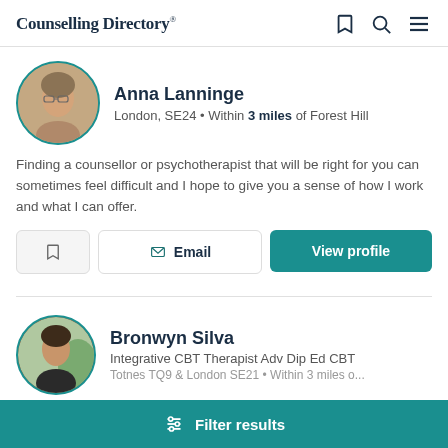Counselling Directory
Anna Lanninge
London, SE24 • Within 3 miles of Forest Hill
Finding a counsellor or psychotherapist that will be right for you can sometimes feel difficult and I hope to give you a sense of how I work and what I can offer.
Bronwyn Silva
Integrative CBT Therapist Adv Dip Ed CBT
Totnes TQ9 & London SE21 • Within 3 miles of...